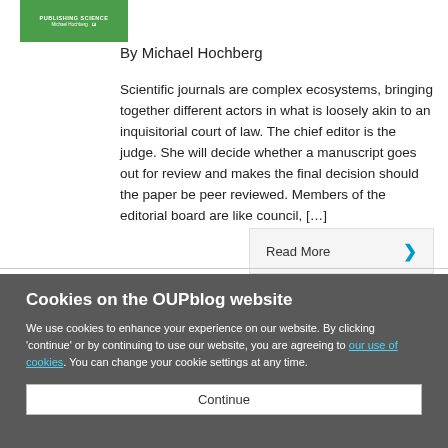[Figure (illustration): Book cover thumbnail with green background reading 'PUBLISHING SCIENCE' and author name]
By Michael Hochberg
Scientific journals are complex ecosystems, bringing together different actors in what is loosely akin to an inquisitorial court of law. The chief editor is the judge. She will decide whether a manuscript goes out for review and makes the final decision should the paper be peer reviewed. Members of the editorial board are like council, […]
Read More ›
Cookies on the OUPblog website
We use cookies to enhance your experience on our website. By clicking 'continue' or by continuing to use our website, you are agreeing to our use of cookies. You can change your cookie settings at any time.
Continue